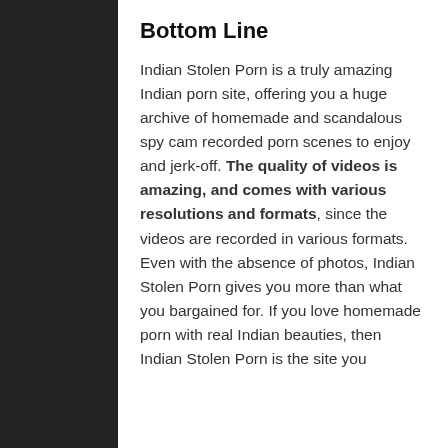Bottom Line
Indian Stolen Porn is a truly amazing Indian porn site, offering you a huge archive of homemade and scandalous spy cam recorded porn scenes to enjoy and jerk-off. The quality of videos is amazing, and comes with various resolutions and formats, since the videos are recorded in various formats. Even with the absence of photos, Indian Stolen Porn gives you more than what you bargained for. If you love homemade porn with real Indian beauties, then Indian Stolen Porn is the site you